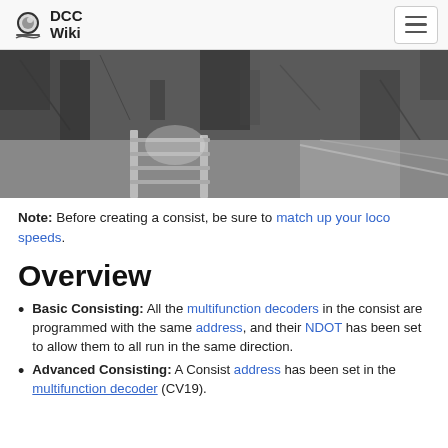DCC Wiki
[Figure (photo): Black and white photograph showing model train tracks in a forested/natural setting, viewed from low angle]
Note: Before creating a consist, be sure to match up your loco speeds.
Overview
Basic Consisting: All the multifunction decoders in the consist are programmed with the same address, and their NDOT has been set to allow them to all run in the same direction.
Advanced Consisting: A Consist address has been set in the multifunction decoder (CV19).